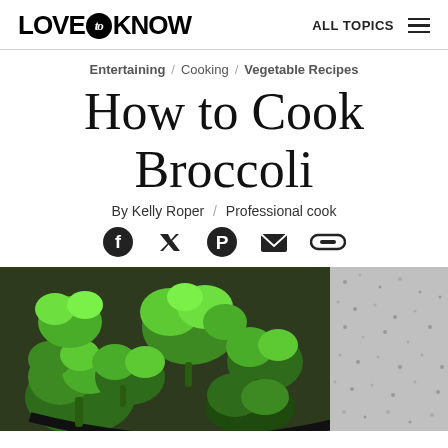LOVE to KNOW | ALL TOPICS
Entertaining / Cooking / Vegetable Recipes
How to Cook Broccoli
By Kelly Roper / Professional cook
[Figure (other): Social share icons: Facebook, Twitter, Pinterest, Email, Link]
[Figure (photo): Photo of broccoli florets in a dark bowl, with a textured grey surface visible on the right side]